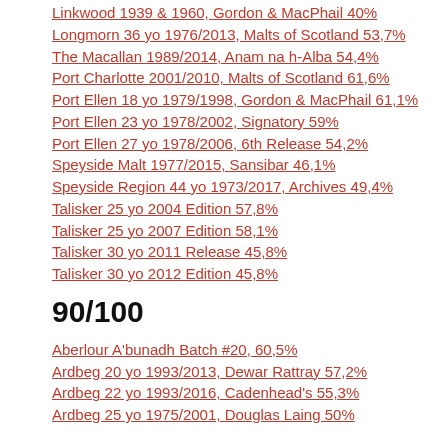Linkwood 1939 & 1960, Gordon & MacPhail 40%
Longmorn 36 yo 1976/2013, Malts of Scotland 53,7%
The Macallan 1989/2014, Anam na h-Alba 54,4%
Port Charlotte 2001/2010, Malts of Scotland 61,6%
Port Ellen 18 yo 1979/1998, Gordon & MacPhail 61,1%
Port Ellen 23 yo 1978/2002, Signatory 59%
Port Ellen 27 yo 1978/2006, 6th Release 54,2%
Speyside Malt 1977/2015, Sansibar 46,1%
Speyside Region 44 yo 1973/2017, Archives 49,4%
Talisker 25 yo 2004 Edition 57,8%
Talisker 25 yo 2007 Edition 58,1%
Talisker 30 yo 2011 Release 45,8%
Talisker 30 yo 2012 Edition 45,8%
90/100
Aberlour A'bunadh Batch #20, 60,5%
Ardbeg 20 yo 1993/2013, Dewar Rattray 57,2%
Ardbeg 22 yo 1993/2016, Cadenhead's 55,3%
Ardbeg 25 yo 1975/2001, Douglas Laing 50%